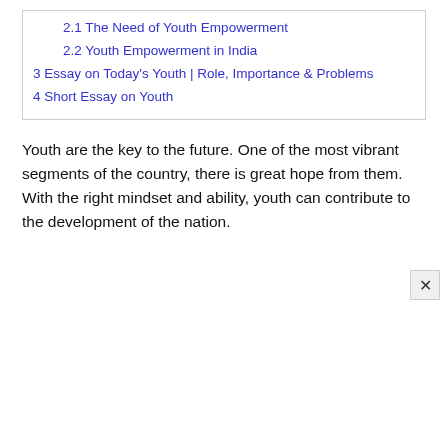2.1 The Need of Youth Empowerment
2.2 Youth Empowerment in India
3 Essay on Today's Youth | Role, Importance & Problems
4 Short Essay on Youth
Youth are the key to the future. One of the most vibrant segments of the country, there is great hope from them. With the right mindset and ability, youth can contribute to the development of the nation.